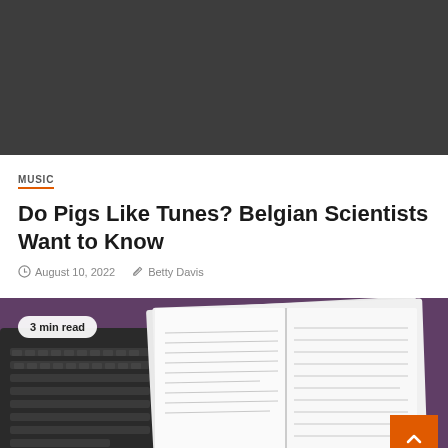[Figure (photo): Dark gray/charcoal colored image placeholder at the top of the article page]
MUSIC
Do Pigs Like Tunes? Belgian Scientists Want to Know
August 10, 2022   Betty Davis
[Figure (photo): Photo of an open notebook with handwritten notes beside a laptop keyboard on a purple/dark background, with a '3 min read' badge overlay and an orange scroll-to-top button]